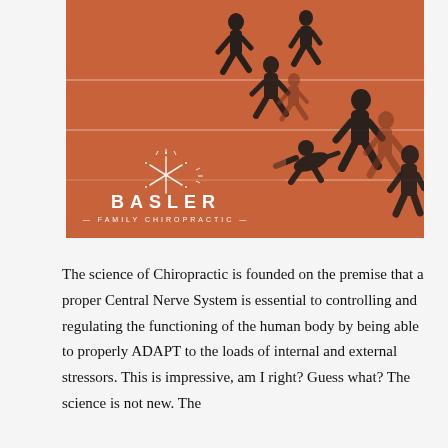[Figure (photo): Aerial view of runners on a red athletics track, silhouettes of athletes casting shadows. Basler Family Chiropractic logo overlaid in white on the lower left of the image.]
The science of Chiropractic is founded on the premise that a proper Central Nerve System is essential to controlling and regulating the functioning of the human body by being able to properly ADAPT to the loads of internal and external stressors. This is impressive, am I right? Guess what? The science is not new. The